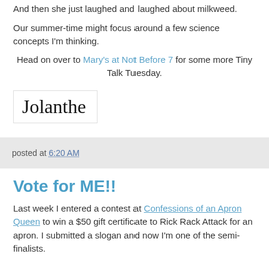And then she just laughed and laughed about milkweed.
Our summer-time might focus around a few science concepts I'm thinking.
Head on over to Mary's at Not Before 7 for some more Tiny Talk Tuesday.
[Figure (illustration): Handwritten signature reading 'Jolanthe' in a bordered box]
posted at 6:20 AM
Vote for ME!!
Last week I entered a contest at Confessions of an Apron Queen to win a $50 gift certificate to Rick Rack Attack for an apron. I submitted a slogan and now I'm one of the semi-finalists.